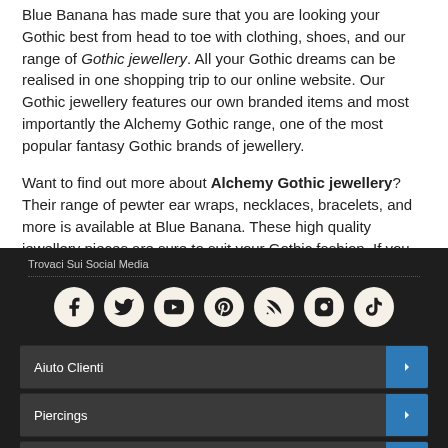Blue Banana has made sure that you are looking your Gothic best from head to toe with clothing, shoes, and our range of Gothic jewellery. All your Gothic dreams can be realised in one shopping trip to our online website. Our Gothic jewellery features our own branded items and most importantly the Alchemy Gothic range, one of the most popular fantasy Gothic brands of jewellery.
Want to find out more about Alchemy Gothic jewellery? Their range of pewter ear wraps, necklaces, bracelets, and more is available at Blue Banana. These high quality jewellery pieces are sure to suit your Gothic fashion. If you love all things fantasy then Alchemy Gothic has plenty to offer with elves, dragons, occult designs, and witches cats available in a range of stunning styles. They have also created intricate and detailed Steampunk jewellery and watches in a gorgeous antique finish to fit in
Trovaci Sui Social Media
Aiuto Clienti
Piercings
Altro
Copyright © 2022 Arcadant BV Limited.
Reg No:12150369 Vat No:GB340653518 +44 (0) 1579 341907